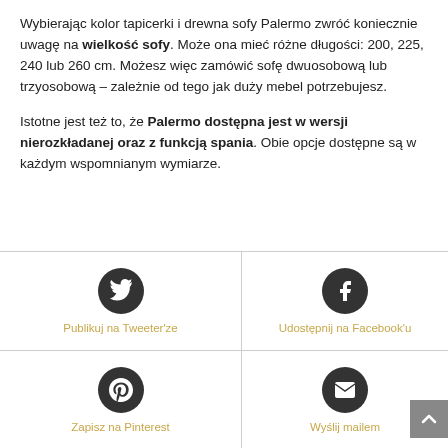Wybierając kolor tapicerki i drewna sofy Palermo zwróć koniecznie uwagę na wielkość sofy. Może ona mieć różne długości: 200, 225, 240 lub 260 cm. Możesz więc zamówić sofę dwuosobową lub trzyosobową – zależnie od tego jak duży mebel potrzebujesz.
Istotne jest też to, że Palermo dostępna jest w wersji nierozkładanej oraz z funkcją spania. Obie opcje dostępne są w każdym wspomnianym wymiarze.
[Figure (other): Twitter share button with dark circular icon and label 'Publikuj na Tweeter'ze' in gold color]
[Figure (other): Facebook share button with dark circular icon and label 'Udostępnij na Facebook'u' in gold color]
[Figure (other): Pinterest save button with dark circular icon and label 'Zapisz na Pinterest' in gold color]
[Figure (other): Email share button with dark circular icon and label 'Wyślij mailem' in gold color]